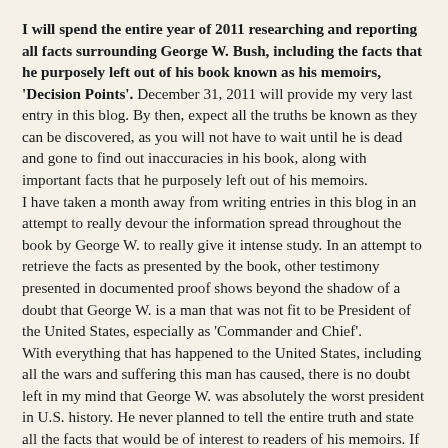I will spend the entire year of 2011 researching and reporting all facts surrounding George W. Bush, including the facts that he purposely left out of his book known as his memoirs, 'Decision Points'. December 31, 2011 will provide my very last entry in this blog. By then, expect all the truths be known as they can be discovered, as you will not have to wait until he is dead and gone to find out inaccuracies in his book, along with important facts that he purposely left out of his memoirs.
I have taken a month away from writing entries in this blog in an attempt to really devour the information spread throughout the book by George W. to really give it intense study. In an attempt to retrieve the facts as presented by the book, other testimony presented in documented proof shows beyond the shadow of a doubt that George W. is a man that was not fit to be President of the United States, especially as 'Commander and Chief'.
With everything that has happened to the United States, including all the wars and suffering this man has caused, there is no doubt left in my mind that George W. was absolutely the worst president in U.S. history. He never planned to tell the entire truth and state all the facts that would be of interest to readers of his memoirs. If they would be of interest, then he should have included them. It doesn't